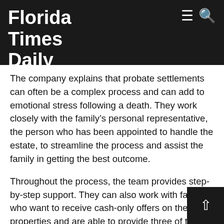Florida Times Daily
The company explains that probate settlements can often be a complex process and can add to emotional stress following a death. They work closely with the family’s personal representative, the person who has been appointed to handle the estate, to streamline the process and assist the family in getting the best outcome.
Throughout the process, the team provides step-by-step support. They can also work with families who want to receive cash-only offers on their properties and are able to provide three of the offers within 72 hours. Cleaning and maintenance